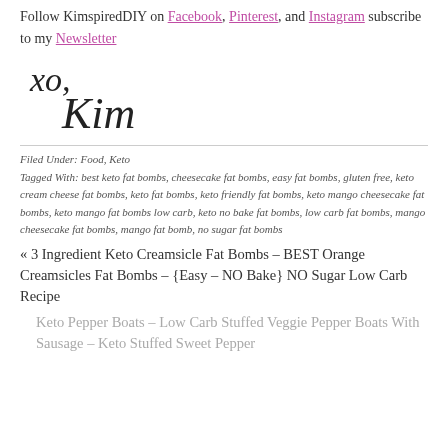Follow KimspiredDIY on Facebook, Pinterest, and Instagram subscribe to my Newsletter
[Figure (illustration): Handwritten signature reading 'xo, Kim' in black ink cursive script]
Filed Under: Food, Keto
Tagged With: best keto fat bombs, cheesecake fat bombs, easy fat bombs, gluten free, keto cream cheese fat bombs, keto fat bombs, keto friendly fat bombs, keto mango cheesecake fat bombs, keto mango fat bombs low carb, keto no bake fat bombs, low carb fat bombs, mango cheesecake fat bombs, mango fat bomb, no sugar fat bombs
« 3 Ingredient Keto Creamsicle Fat Bombs – BEST Orange Creamsicles Fat Bombs – {Easy – NO Bake} NO Sugar Low Carb Recipe
Keto Pepper Boats – Low Carb Stuffed Veggie Pepper Boats With Sausage – Keto Stuffed Sweet Pepper